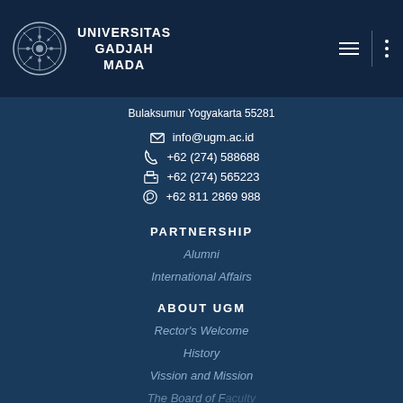[Figure (logo): Universitas Gadjah Mada logo with circular emblem and navigation icons]
Bulaksumur Yogyakarta 55281
info@ugm.ac.id
+62 (274) 588688
+62 (274) 565223
+62 811 2869 988
PARTNERSHIP
Alumni
International Affairs
ABOUT UGM
Rector's Welcome
History
Vission and Mission
The Board of Faculty